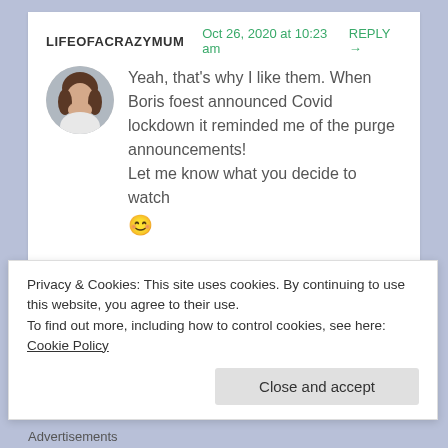LIFEOFACRAZYMUM   Oct 26, 2020 at 10:23 am   REPLY →
Yeah, that's why I like them. When Boris foest announced Covid lockdown it reminded me of the purge announcements!
Let me know what you decide to watch 😊
★ Like
Advertisements
Privacy & Cookies: This site uses cookies. By continuing to use this website, you agree to their use.
To find out more, including how to control cookies, see here: Cookie Policy
Close and accept
Advertisements